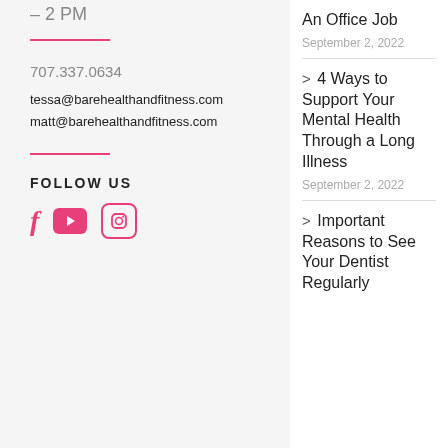-2 PM
707.337.0634
tessa@barehealthandfitness.com
matt@barehealthandfitness.com
FOLLOW US
An Office Job
September 2, 2022
> 4 Ways to Support Your Mental Health Through a Long Illness
September 2, 2022
> Important Reasons to See Your Dentist Regularly